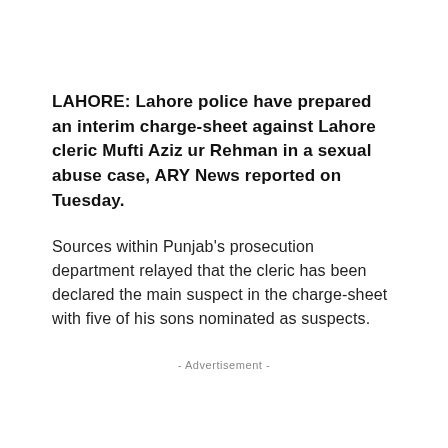LAHORE: Lahore police have prepared an interim charge-sheet against Lahore cleric Mufti Aziz ur Rehman in a sexual abuse case, ARY News reported on Tuesday.
Sources within Punjab's prosecution department relayed that the cleric has been declared the main suspect in the charge-sheet with five of his sons nominated as suspects.
- Advertisement -